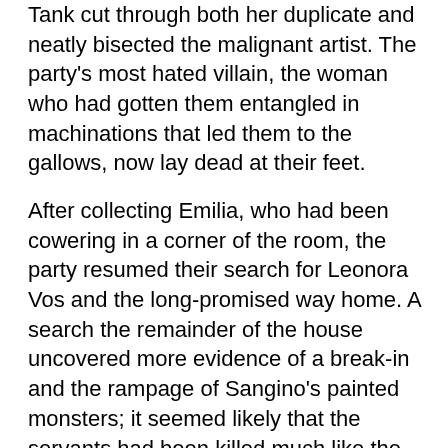Tank cut through both her duplicate and neatly bisected the malignant artist. The party's most hated villain, the woman who had gotten them entangled in machinations that led them to the gallows, now lay dead at their feet.
After collecting Emilia, who had been cowering in a corner of the room, the party resumed their search for Leonora Vos and the long-promised way home. A search the remainder of the house uncovered more evidence of a break-in and the rampage of Sangino's painted monsters; it seemed likely that the servants had been killed much like the dwarven miners excavating in the stone ruins. On the second floor, the party found a door that was blocked from the inside. Tank put his muscles to good use and shouldered his way through what turned out to be a barricade made of furniture. Inside this master bedroom they found Leonora Vos. Frightened out of her wits, Vos summoned a magical flame shaped like